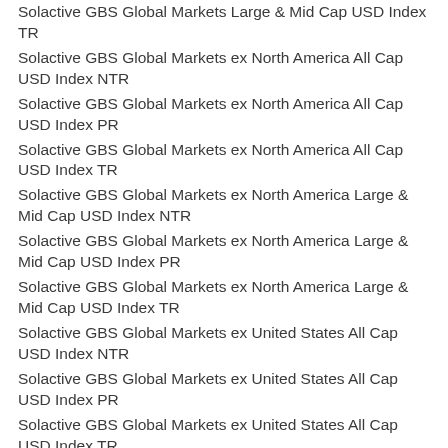Solactive GBS Global Markets Large & Mid Cap USD Index TR
Solactive GBS Global Markets ex North America All Cap USD Index NTR
Solactive GBS Global Markets ex North America All Cap USD Index PR
Solactive GBS Global Markets ex North America All Cap USD Index TR
Solactive GBS Global Markets ex North America Large & Mid Cap USD Index NTR
Solactive GBS Global Markets ex North America Large & Mid Cap USD Index PR
Solactive GBS Global Markets ex North America Large & Mid Cap USD Index TR
Solactive GBS Global Markets ex United States All Cap USD Index NTR
Solactive GBS Global Markets ex United States All Cap USD Index PR
Solactive GBS Global Markets ex United States All Cap USD Index TR
Solactive GBS Global Markets ex United States Large & Mid Cap USD Index NTR
Solactive GBS Global Markets ex United States Large & Mid Cap USD